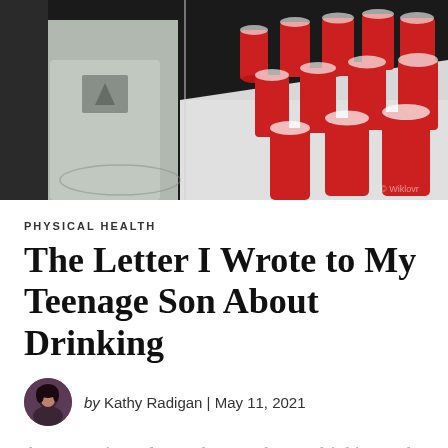[Figure (photo): A photo showing red Solo cups arranged on a white table for beer pong, with a person in a grey hoodie visible on the left side]
PHYSICAL HEALTH
The Letter I Wrote to My Teenage Son About Drinking
by Kathy Radigan | May 11, 2021
A mom writes a letter about underage drinking and reminds her son of the family values that she holds